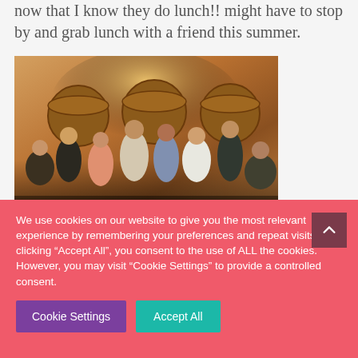now that I know they do lunch!! might have to stop by and grab lunch with a friend this summer.
[Figure (photo): A group of people gathered indoors at what appears to be a winery or barrel room. Several people are standing and socializing around large wooden barrels. The lighting is warm and golden.]
We use cookies on our website to give you the most relevant experience by remembering your preferences and repeat visits. By clicking “Accept All”, you consent to the use of ALL the cookies. However, you may visit “Cookie Settings” to provide a controlled consent.